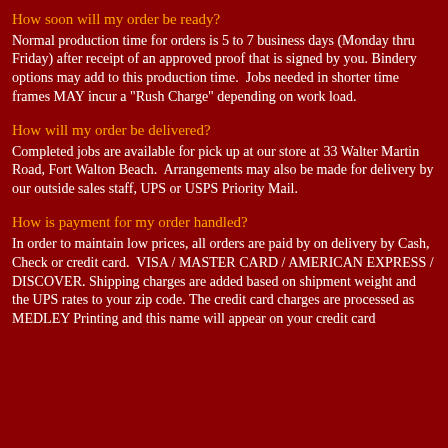How soon will my order be ready?
Normal production time for orders is 5 to 7 business days (Monday thru Friday) after receipt of an approved proof that is signed by you. Bindery options may add to this production time.  Jobs needed in shorter time frames MAY incur a "Rush Charge" depending on work load.
How will my order be delivered?
Completed jobs are available for pick up at our store at 33 Walter Martin Road, Fort Walton Beach.  Arrangements may also be made for delivery by our outside sales staff, UPS or USPS Priority Mail.
How is payment for my order handled?
In order to maintain low prices, all orders are paid by on delivery by Cash, Check or credit card.  VISA / MASTER CARD / AMERICAN EXPRESS / DISCOVER. Shipping charges are added based on shipment weight and the UPS rates to your zip code. The credit card charges are processed as MEDLEY Printing and this name will appear on your credit card